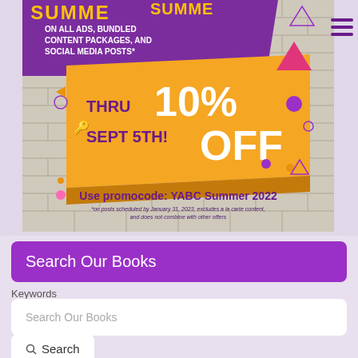[Figure (illustration): Promotional advertisement banner on a brick wall background. Purple ribbon banner at top reading 'SUMMER ON ALL ADS, BUNDLED CONTENT PACKAGES, AND SOCIAL MEDIA POSTS*'. Orange 3D box shape with text 'THRU SEPT 5TH! 10% OFF'. Bottom text: 'Use promocode: YABC Summer 2022' and '*on posts scheduled by January 31, 2023, excludes a la carte content, and does not combine with other offers'. Decorative geometric shapes (triangles, circles) in purple, orange, and pink scattered around.]
Search Our Books
Keywords
Search Our Books
Search